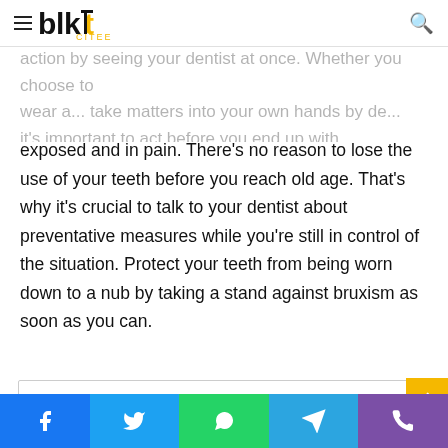blk CITEE - navigation header with logo, hamburger menu, and search icon
action by seeing your dentist at once. Whether you choose to wear a... take matters into your own hands by de... it's important to act before you end up with a mouth full of worn-down teeth that always feel like they're exposed and in pain. There's no reason to lose the use of your teeth before you reach old age. That's why it's crucial to talk to your dentist about preventative measures while you're still in control of the situation. Protect your teeth from being worn down to a nub by taking a stand against bruxism as soon as you can.
[Figure (other): Partial comment/reply box with user avatar at bottom of article]
Social share buttons: Facebook, Twitter, WhatsApp, Telegram, Phone